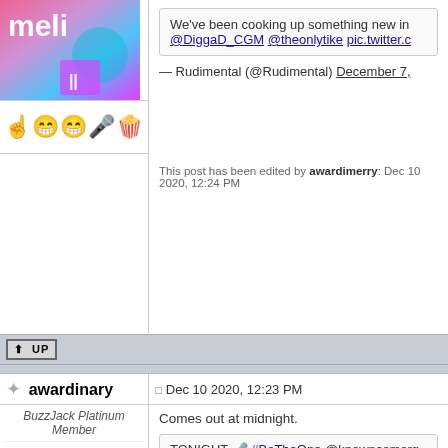[Figure (photo): Forum user avatar with colorful purple/pink/teal gradient background and text 'meli' visible at top]
[Figure (illustration): Row of emoji icons: pointing finger, two smiley faces, microphone, popcorn]
We've been cooking up something new in... @DiggaD_CGM @theonlytike pic.twitter.c...
— Rudimental (@Rudimental) December 7,...
This post has been edited by awardimerry: Dec 10 2020, 12:24 PM
awardinary
Dec 10 2020, 12:23 PM
BuzzJack Platinum Member
Group: Genre Mod
Posts: 14,730
Member No.: 21,587
Comes out at midnight.
TONIGHT 🎤 #BeTheOne @knownasmorg... pic.twitter.com/Pc7r5VmB3e